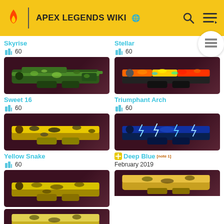APEX LEGENDS WIKI
Skyrise
60
[Figure (photo): Skyrise weapon skin for a gun with green camouflage pattern]
Stellar
60
[Figure (photo): Stellar weapon skin for a gun with colorful rainbow pattern]
Sweet 16
60
[Figure (photo): Sweet 16 weapon skin for a gun with yellow and black pattern]
Triumphant Arch
60
[Figure (photo): Triumphant Arch weapon skin for a gun with blue lightning pattern]
Yellow Snake
60
[Figure (photo): Yellow Snake weapon skin for a gun with yellow snake pattern]
Deep Blue [note 1]
February 2019
[Figure (photo): Yellow Snake weapon skin bottom partial view]
[Figure (photo): Deep Blue weapon skin bottom partial view]